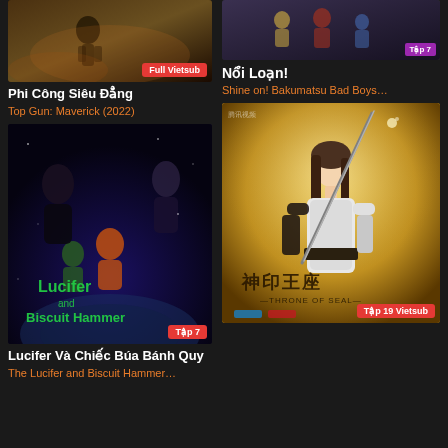[Figure (photo): Top Gun Maverick movie poster thumbnail with dark desert scene and orange tones, badge: Full Vietsub]
Phi Công Siêu Đẳng
Top Gun: Maverick (2022)
[Figure (photo): Noi Loan anime thumbnail, badge: Tập 7 (purple)]
Nổi Loạn!
Shine on! Bakumatsu Bad Boys…
[Figure (photo): Lucifer and Biscuit Hammer anime poster with multiple characters, badge: Tập 7]
Lucifer Và Chiếc Búa Bánh Quy
The Lucifer and Biscuit Hammer…
[Figure (photo): Throne of Seal (神印王座) Chinese anime poster with female warrior holding weapon, golden background, badge: Tập 19 Vietsub]